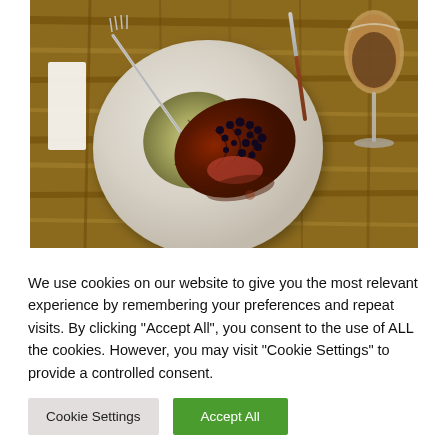[Figure (photo): A restaurant-style plate of sliced steak topped with dark berries/capers and sauce, served alongside a wedge of grilled cabbage, on a cream-colored plate. A fork is on the left side of the plate, a steak knife with a wooden handle is on the right side. A wine glass with dark liquid is visible at the top right. The plate rests on a rustic wooden table. A folded white napkin is visible at the left edge.]
We use cookies on our website to give you the most relevant experience by remembering your preferences and repeat visits. By clicking "Accept All", you consent to the use of ALL the cookies. However, you may visit "Cookie Settings" to provide a controlled consent.